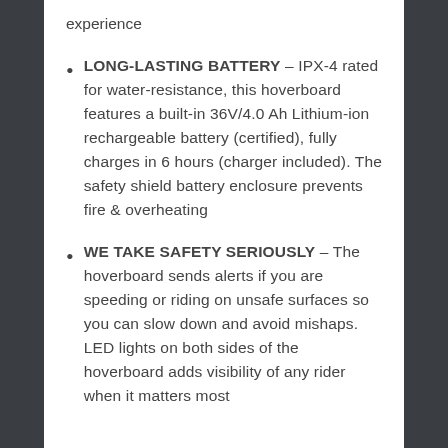experience
LONG-LASTING BATTERY – IPX-4 rated for water-resistance, this hoverboard features a built-in 36V/4.0 Ah Lithium-ion rechargeable battery (certified), fully charges in 6 hours (charger included). The safety shield battery enclosure prevents fire & overheating
WE TAKE SAFETY SERIOUSLY – The hoverboard sends alerts if you are speeding or riding on unsafe surfaces so you can slow down and avoid mishaps. LED lights on both sides of the hoverboard adds visibility of any rider when it matters most